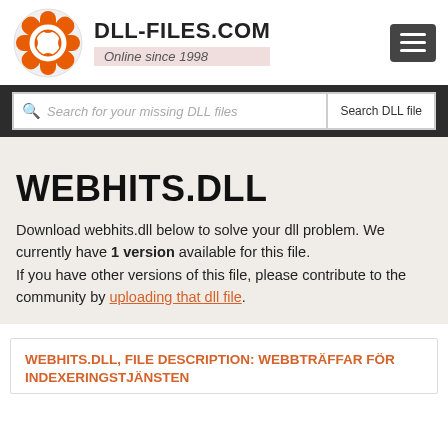[Figure (logo): DLL-Files.com orange gear/lifesaver logo with site name DLL-FILES.COM and tagline Online since 1998]
Search for your missing DLL files  Search DLL file
WEBHITS.DLL
Download webhits.dll below to solve your dll problem. We currently have 1 version available for this file.
If you have other versions of this file, please contribute to the community by uploading that dll file.
WEBHITS.DLL, FILE DESCRIPTION: WEBBTRÄFFAR FÖR INDEXERINGSTJÄNSTEN